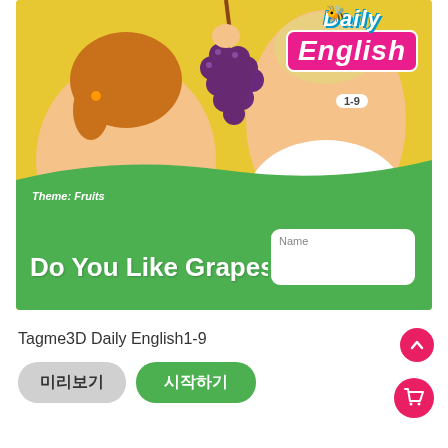[Figure (photo): Book cover for 'Daily English 1-9' showing two children with grapes on a yellow/green background. Title reads 'Do You Like Grapes?' with a name box and Daily English logo.]
Tagme3D Daily English1-9
미리보기
시작하기